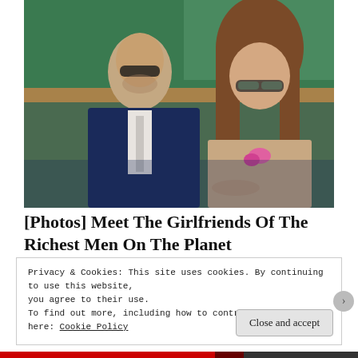[Figure (photo): A middle-aged man in a dark suit with sunglasses and a woman with long brown hair wearing sunglasses and a pink flower, seated in green stadium seats (likely Wimbledon).]
[Photos] Meet The Girlfriends Of The Richest Men On The Planet
Privacy & Cookies: This site uses cookies. By continuing to use this website, you agree to their use.
To find out more, including how to control cookies, see here: Cookie Policy
Close and accept